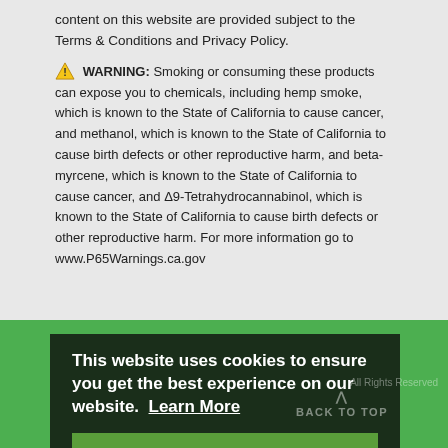content on this website are provided subject to the Terms & Conditions and Privacy Policy.
⚠ WARNING: Smoking or consuming these products can expose you to chemicals, including hemp smoke, which is known to the State of California to cause cancer, and methanol, which is known to the State of California to cause birth defects or other reproductive harm, and beta-myrcene, which is known to the State of California to cause cancer, and Δ9-Tetrahydrocannabinol, which is known to the State of California to cause birth defects or other reproductive harm. For more information go to www.P65Warnings.ca.gov
This website uses cookies to ensure you get the best experience on our website.  Learn More
GOT IT
All Rights Reserved
BACK TO TOP